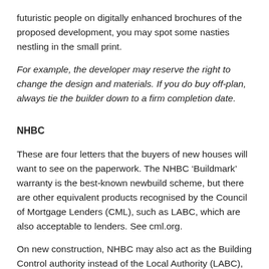futuristic people on digitally enhanced brochures of the proposed development, you may spot some nasties nestling in the small print.
For example, the developer may reserve the right to change the design and materials. If you do buy off-plan, always tie the builder down to a firm completion date.
NHBC
These are four letters that the buyers of new houses will want to see on the paperwork. The NHBC ‘Buildmark’ warranty is the best-known newbuild scheme, but there are other equivalent products recognised by the Council of Mortgage Lenders (CML), such as LABC, which are also acceptable to lenders. See cml.org.
On new construction, NHBC may also act as the Building Control authority instead of the Local Authority (LABC), so they take the rap should the builders not have complied with the building regulations (e.g.